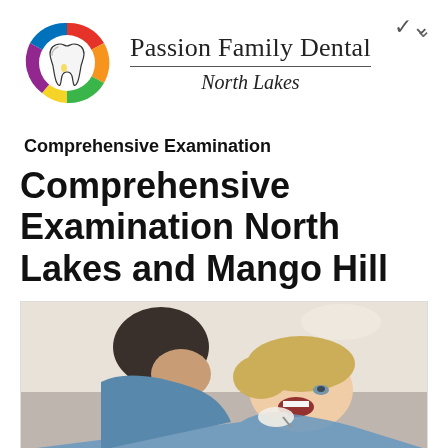[Figure (logo): Passion Family Dental colorful tooth logo — circular logo with multicolored segments (red, orange, green, blue, yellow, purple) surrounding a white tooth outline]
Passion Family Dental
North Lakes
Comprehensive Examination
Comprehensive Examination North Lakes and Mango Hill
[Figure (photo): A dentist (dark-haired, wearing blue scrubs and gloves) examining a female patient (blonde, lying back with mouth open) in a dental chair, light background]